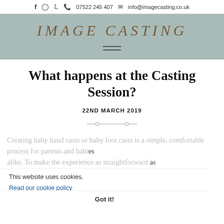f  ○  🐦  📞 07522 245 407  ✉ info@imagecasting.co.uk
[Figure (logo): IMAGE CASTING brand logo in italic serif font on muted teal/sage background with hamburger menu icon below]
What happens at the Casting Session?
22ND MARCH 2019
Creating baby hand casts or baby foot casts is a simple, comfortable process for parents and babies alike. To make the experience as straightforward as possible, casting sessions can take place within your
This website uses cookies.
Read our cookie policy
Got it!